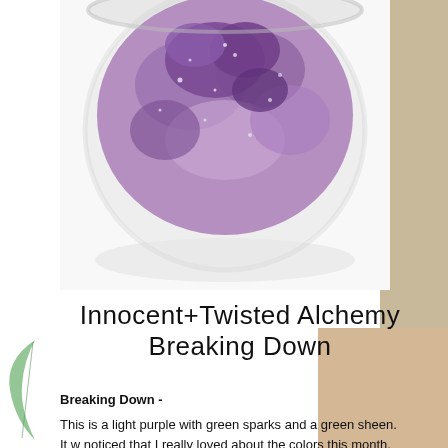[Figure (photo): Open jar of light purple pigment powder (eyeshadow/cosmetic mineral powder) seen from above, showing crumbly purple sparkly powder inside a clear glass jar, on white background]
Innocent+Twisted Alchemy Breaking Down
Breaking Down -
This is a light purple with green sparks and a green sheen. It w... noticed that I really loved about the colors this month, is that th... handy for trying to remember what the colors were when I see t...